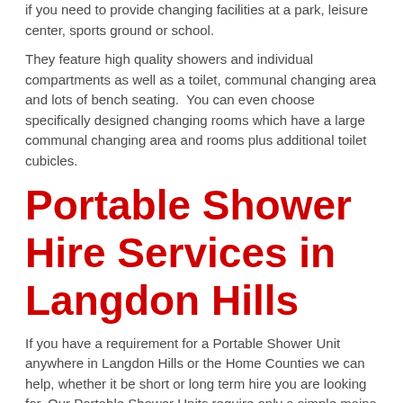if you need to provide changing facilities at a park, leisure center, sports ground or school.
They feature high quality showers and individual compartments as well as a toilet, communal changing area and lots of bench seating.  You can even choose specifically designed changing rooms which have a large communal changing area and rooms plus additional toilet cubicles.
Portable Shower Hire Services in Langdon Hills
If you have a requirement for a Portable Shower Unit anywhere in Langdon Hills or the Home Counties we can help, whether it be short or long term hire you are looking for. Our Portable Shower Units require only a simple mains